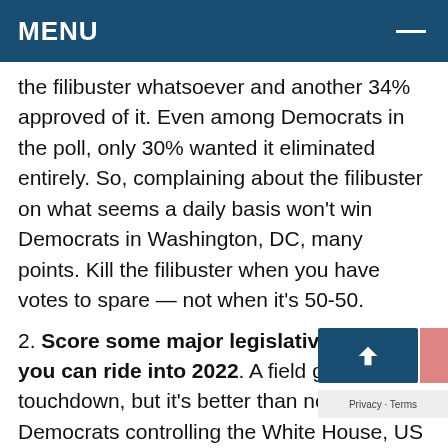MENU
the filibuster whatsoever and another 34% approved of it. Even among Democrats in the poll, only 30% wanted it eliminated entirely. So, complaining about the filibuster on what seems a daily basis won't win Democrats in Washington, DC, many points. Kill the filibuster when you have votes to spare — not when it's 50-50.
2. Score some major legislative points you can ride into 2022. A field goal isn't a touchdown, but it's better than nothing. With Democrats controlling the White House, US House of Representatives and US Senate, Biden, House Speaker Nancy Pelosi and Senate Majority Leader Chuck Schumer must put points on the board by passing legislation that